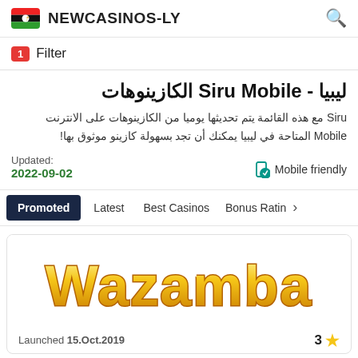NEWCASINOS-LY
1  Filter
ليبيا - Siru Mobile الكازينوهات
Siru مع هذه القائمة يتم تحديثها يوميا من الكازينوهات على الانترنت المتاحة في ليبيا يمكنك أن تجد بسهولة كازينو موثوق بها Mobile!
Updated:
2022-09-02    Mobile friendly
Promoted  Latest  Best Casinos  Bonus Ratin >
[Figure (logo): Wazamba casino logo in large yellow 3D text]
Launched 15.Oct.2019   3 ★